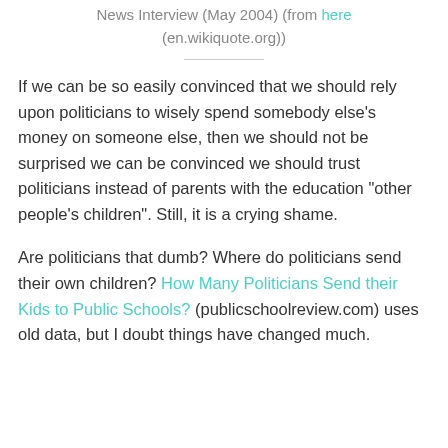News Interview (May 2004) (from here (en.wikiquote.org))
If we can be so easily convinced that we should rely upon politicians to wisely spend somebody else's money on someone else, then we should not be surprised we can be convinced we should trust politicians instead of parents with the education “other people’s children”. Still, it is a crying shame.
Are politicians that dumb? Where do politicians send their own children? How Many Politicians Send their Kids to Public Schools? (publicschoolreview.com) uses old data, but I doubt things have changed much.